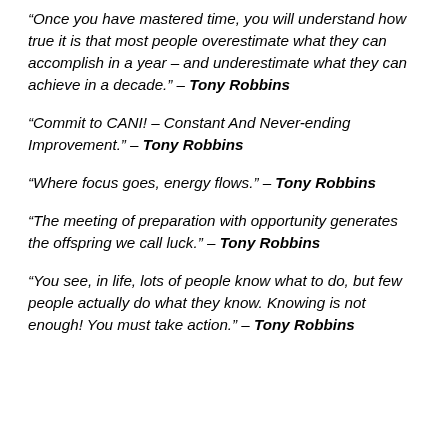“Once you have mastered time, you will understand how true it is that most people overestimate what they can accomplish in a year – and underestimate what they can achieve in a decade.” – Tony Robbins
“Commit to CANI! – Constant And Never-ending Improvement.” – Tony Robbins
“Where focus goes, energy flows.” – Tony Robbins
“The meeting of preparation with opportunity generates the offspring we call luck.” – Tony Robbins
“You see, in life, lots of people know what to do, but few people actually do what they know. Knowing is not enough! You must take action.” – Tony Robbins